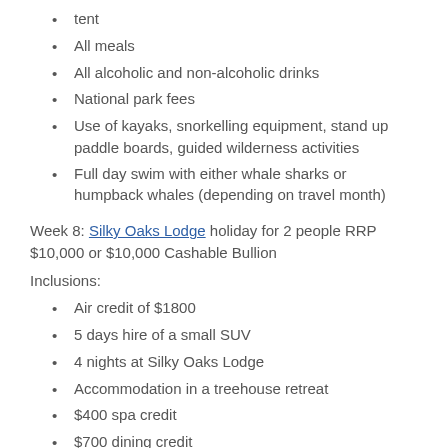tent
All meals
All alcoholic and non-alcoholic drinks
National park fees
Use of kayaks, snorkelling equipment, stand up paddle boards, guided wilderness activities
Full day swim with either whale sharks or humpback whales (depending on travel month)
Week 8: Silky Oaks Lodge holiday for 2 people RRP $10,000 or $10,000 Cashable Bullion
Inclusions:
Air credit of $1800
5 days hire of a small SUV
4 nights at Silky Oaks Lodge
Accommodation in a treehouse retreat
$400 spa credit
$700 dining credit
3.2    Total value at RRP of prizes is